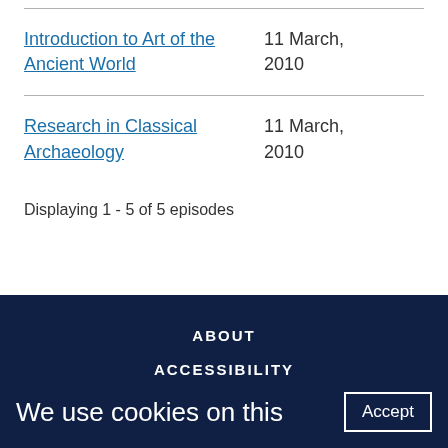Introduction to Art of the Ancient World — 11 March, 2010
Research in Classical Archaeology — 11 March, 2010
Displaying 1 - 5 of 5 episodes
ABOUT
ACCESSIBILITY
We use cookies on this